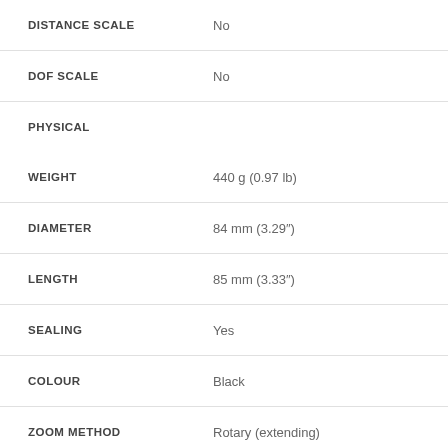| Attribute | Value |
| --- | --- |
| DISTANCE SCALE | No |
| DOF SCALE | No |
| PHYSICAL |  |
| WEIGHT | 440 g (0.97 lb) |
| DIAMETER | 84 mm (3.29″) |
| LENGTH | 85 mm (3.33″) |
| SEALING | Yes |
| COLOUR | Black |
| ZOOM METHOD | Rotary (extending) |
| POWER ZOOM | No |
| ZOOM LOCK | No |
| FILTER THREAD | 77.0 mm |
| HOOD SUPPLIED | Yes |